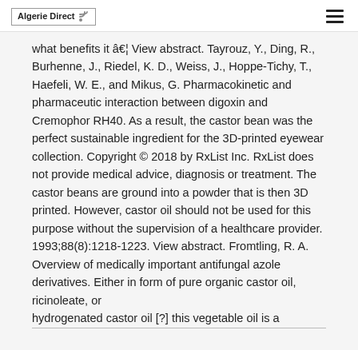Algerie Direct
what benefits it â€¦ View abstract. Tayrouz, Y., Ding, R., Burhenne, J., Riedel, K. D., Weiss, J., Hoppe-Tichy, T., Haefeli, W. E., and Mikus, G. Pharmacokinetic and pharmaceutic interaction between digoxin and Cremophor RH40. As a result, the castor bean was the perfect sustainable ingredient for the 3D-printed eyewear collection. Copyright © 2018 by RxList Inc. RxList does not provide medical advice, diagnosis or treatment. The castor beans are ground into a powder that is then 3D printed. However, castor oil should not be used for this purpose without the supervision of a healthcare provider. 1993;88(8):1218-1223. View abstract. Fromtling, R. A. Overview of medically important antifungal azole derivatives. Either in form of pure organic castor oil, ricinoleate, or hydrogenated castor oil [?] this vegetable oil is a